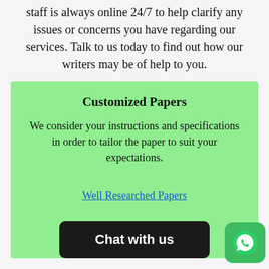staff is always online 24/7 to help clarify any issues or concerns you have regarding our services. Talk to us today to find out how our writers may be of help to you.
Customized Papers
We consider your instructions and specifications in order to tailor the paper to suit your expectations.
Well Researched Papers
Chat with us